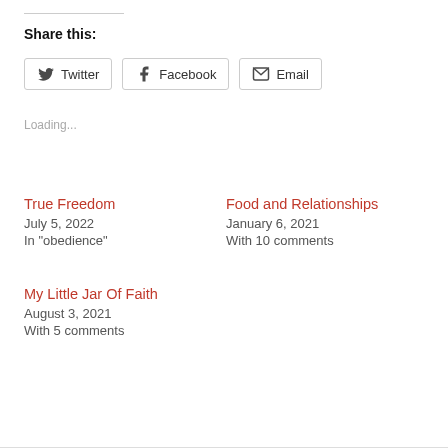Share this:
Twitter  Facebook  Email
Loading...
True Freedom
July 5, 2022
In "obedience"
Food and Relationships
January 6, 2021
With 10 comments
My Little Jar Of Faith
August 3, 2021
With 5 comments